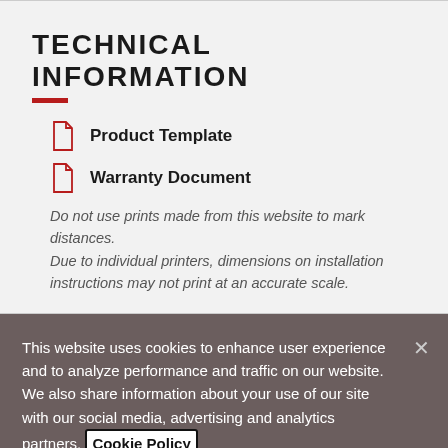TECHNICAL INFORMATION
Product Template
Warranty Document
Do not use prints made from this website to mark distances.
Due to individual printers, dimensions on installation instructions may not print at an accurate scale.
This website uses cookies to enhance user experience and to analyze performance and traffic on our website. We also share information about your use of our site with our social media, advertising and analytics partners. Cookie Policy
Cookie Settings
Accept Cookies